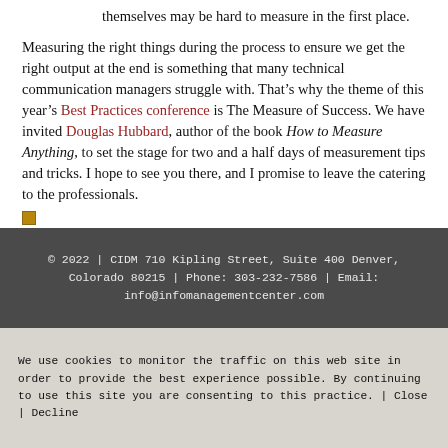themselves may be hard to measure in the first place.
Measuring the right things during the process to ensure we get the right output at the end is something that many technical communication managers struggle with. That’s why the theme of this year’s Best Practices conference is The Measure of Success. We have invited Douglas Hubbard, author of the book How to Measure Anything, to set the stage for two and a half days of measurement tips and tricks. I hope to see you there, and I promise to leave the catering to the professionals.
© 2022 | CIDM 710 Kipling Street, Suite 400 Denver, Colorado 80215 | Phone: 303-232-7586 | Email: info@infomanagementcenter.com
We use cookies to monitor the traffic on this web site in order to provide the best experience possible. By continuing to use this site you are consenting to this practice. | Close | Decline